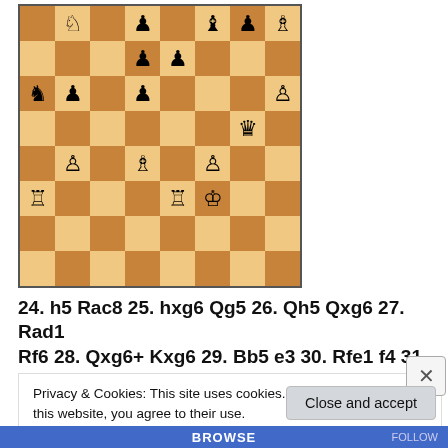[Figure (illustration): Chess board position showing a mid-game position with various pieces including knights, bishops, rooks, queens, pawns and kings on a standard 8x8 board with alternating light and dark squares.]
24. h5 Rac8 25. hxg6 Qg5 26. Qh5 Qxg6 27. Rad1 Rf6 28. Qxg6+ Kxg6 29. Bb5 e3 30. Rfe1 f4 31. b3 Bg5!
Every piece gains maximum activity This is reminiscent of
Privacy & Cookies: This site uses cookies. By continuing to use this website, you agree to their use.
To find out more, including how to control cookies, see here: Cookie Policy
Close and accept